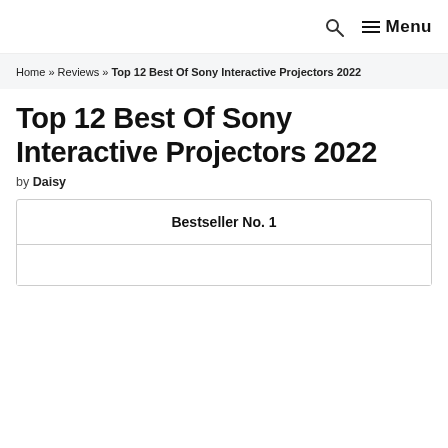Search | Menu
Home » Reviews » Top 12 Best Of Sony Interactive Projectors 2022
Top 12 Best Of Sony Interactive Projectors 2022
by Daisy
| Bestseller No. 1 |
| --- |
|  |